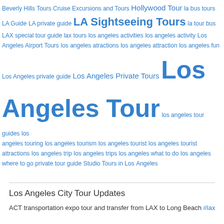Beverly Hills Tours  Cruise Excursions and Tours  Hollywood Tour  la bus tours  LA Guide  LA private guide  LA Sightseeing Tours  la tour bus  LAX special tour guide  lax tours  los angeles activities  los angeles activity  Los Angeles Airport Tours  los angeles atractions  los angeles attraction  los angeles fun  Los Angeles private guide  Los Angeles Private Tours  Los Angeles Tour  los angeles tour guides  los angeles touring  los angeles tourism  los angeles tourist  los angeles tourist attractions  los angeles trip  los angeles trips  los angeles what to do  los angeles where to go  private tour guide  Studio Tours in Los Angeles
Los Angeles City Tour Updates
ACT transportation expo tour and transfer from LAX to Long Beach #lax